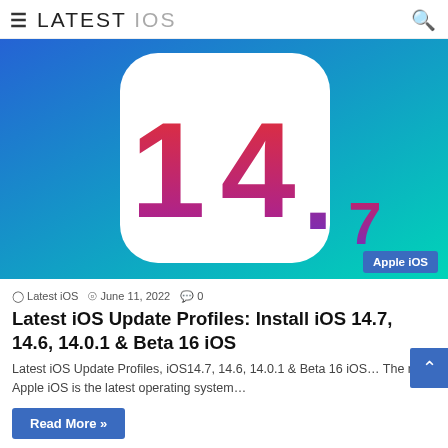≡ LATEST iOS 🔍
[Figure (illustration): iOS 14.7 app icon style graphic on a blue-to-green gradient background, showing a white rounded-rectangle with the text '14.7' in red-to-purple gradient. A blue badge labeled 'Apple iOS' appears in the bottom-right corner.]
Latest iOS  June 11, 2022  0
Latest iOS Update Profiles: Install iOS 14.7, 14.6, 14.0.1 & Beta 16 iOS
Latest iOS Update Profiles, iOS14.7, 14.6, 14.0.1 & Beta 16 iOS… The new Apple iOS is the latest operating system…